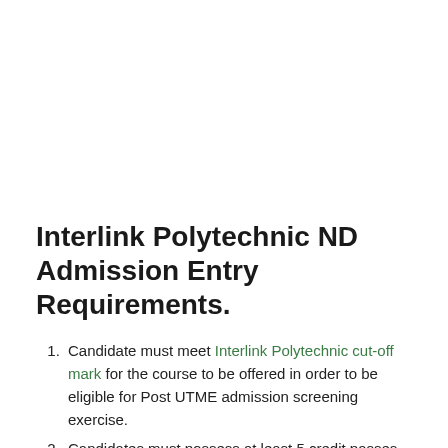Interlink Polytechnic ND Admission Entry Requirements.
Candidate must meet Interlink Polytechnic cut-off mark for the course to be offered in order to be eligible for Post UTME admission screening exercise.
Candidates must possess at least 5 credit passes in relevant subjects which must include English Language and Mathematics at GCE O'level, WASSCE, SSCE, NECO, NABTEB or approved equivalents at not more than